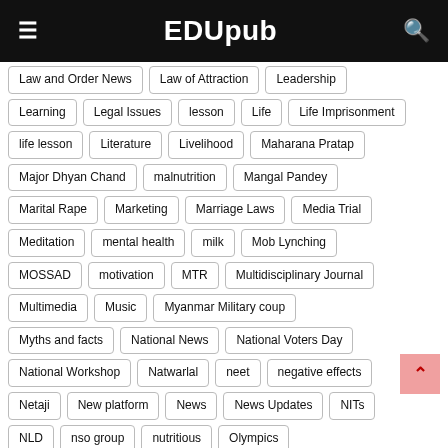EDUpub
Law and Order News
Law of Attraction
Leadership
Learning
Legal Issues
lesson
Life
Life Imprisonment
life lesson
Literature
Livelihood
Maharana Pratap
Major Dhyan Chand
malnutrition
Mangal Pandey
Marital Rape
Marketing
Marriage Laws
Media Trial
Meditation
mental health
milk
Mob Lynching
MOSSAD
motivation
MTR
Multidisciplinary Journal
Multimedia
Music
Myanmar Military coup
Myths and facts
National News
National Voters Day
National Workshop
Natwarlal
neet
negative effects
Netaji
New platform
News
News Updates
NITs
NLD
nso group
nutritious
Olympics
Online Education
Operation Entebbe
Operation Polo